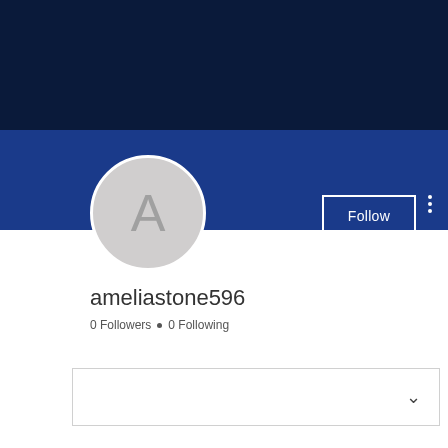[Figure (screenshot): Social media profile page screenshot. Dark navy blue banner at top, medium blue lower banner section. Gray circular avatar with letter A. Follow button and three-dot menu in upper right. Username 'ameliastone596', 0 Followers, 0 Following. Dropdown box at bottom.]
ameliastone596
0 Followers • 0 Following